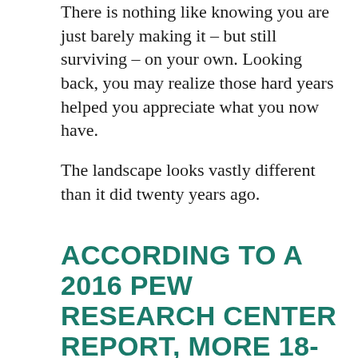There is nothing like knowing you are just barely making it – but still surviving – on your own. Looking back, you may realize those hard years helped you appreciate what you now have.
The landscape looks vastly different than it did twenty years ago.
ACCORDING TO A 2016 PEW RESEARCH CENTER REPORT, MORE 18- TO 34-YEAR-OLDS ARE LIVING WITH THEIR